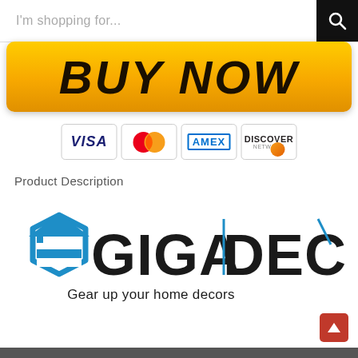I'm shopping for...
[Figure (other): BUY NOW button with golden/orange gradient background and bold dark italic text]
[Figure (other): Payment method icons: VISA, MasterCard, AMEX, DISCOVER NETWORK]
Product Description
[Figure (logo): GIGADECK logo with blue house icon, bold text GIGADECK, and tagline 'Gear up your home decors']